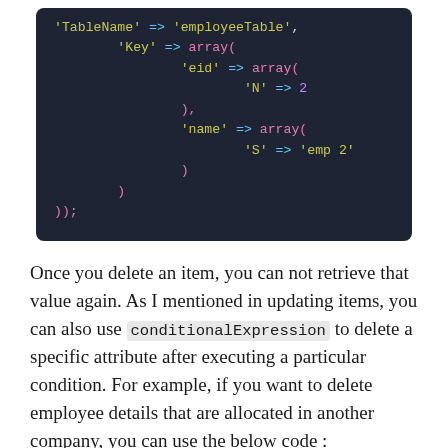[Figure (screenshot): Code block showing PHP/array syntax for DynamoDB deleteItem with TableName 'employeeTable', Key with 'eid' N=>2 and 'name' S=>'emp 2']
Once you delete an item, you can not retrieve that value again. As I mentioned in updating items, you can also use conditionalExpression to delete a specific attribute after executing a particular condition. For example, if you want to delete employee details that are allocated in another company, you can use the below code :